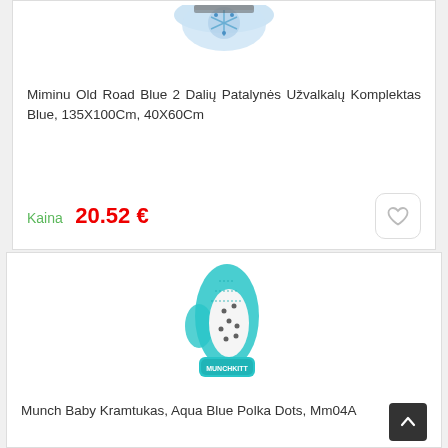[Figure (photo): Partial view of a blue patterned baby bedding product (top portion cut off), snowflake/winter pattern in blue and white]
Miminu Old Road Blue 2 Dalių Patalynės Užvalkalų Komplektas Blue, 135X100Cm, 40X60Cm
Kaina  20.52 €
[Figure (photo): Munch baby teething mitten in aqua blue with white polka dot interior, brand label visible at wrist]
Munch Baby Kramtukas, Aqua Blue Polka Dots, Mm04A